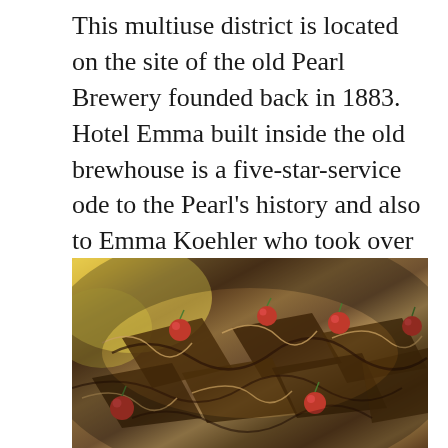This multiuse district is located on the site of the old Pearl Brewery founded back in 1883. Hotel Emma built inside the old brewhouse is a five-star-service ode to the Pearl's history and also to Emma Koehler who took over in 1914 after her husband died. She weathered Prohibition without having to lay off any workers—an impressive feat for anybody anytime but especially for a woman in the 1920s.
[Figure (photo): Close-up photo of chocolate desserts or candies topped with bright red cherries, with swirls of chocolate decoration, on a blurred yellow and brown background.]